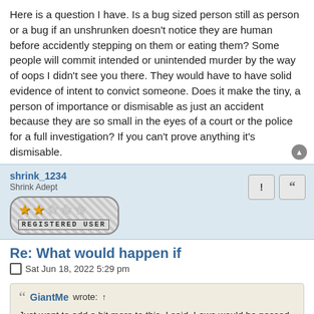Here is a question I have. Is a bug sized person still as person or a bug if an unshrunken doesn't notice they are human before accidently stepping on them or eating them? Some people will commit intended or unintended murder by the way of oops I didn't see you there. They would have to have solid evidence of intent to convict someone. Does it make the tiny, a person of importance or dismisable as just an accident because they are so small in the eyes of a court or the police for a full investigation? If you can't prove anything it's dismisable.
shrink_1234
Shrink Adept
[Figure (other): User badge showing 2 filled gold stars and 3 empty stars with text REGISTERED USER below]
Re: What would happen if
Sat Jun 18, 2022 5:29 pm
GiantMe wrote: ↑
Just want to add a bit more to this, I said, Laws would be passed that would determine whether victims are still considered people with rights...
excuse my rant,but this is interesting.
Okay before I move on from this I want to debate a little on this issue to get your take on this. My take on this might be entertaining at best, but